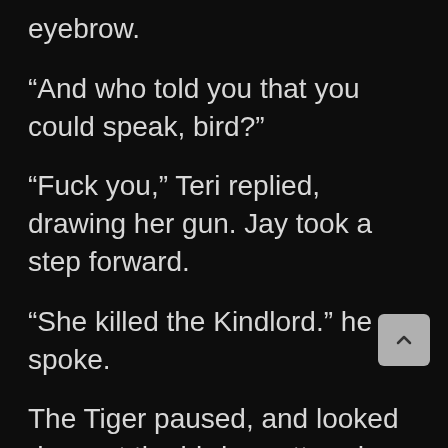eyebrow.
“And who told you that you could speak, bird?”
“Fuck you,” Teri replied, drawing her gun. Jay took a step forward.
“She killed the Kindlord.” he spoke.
The Tiger paused, and looked down at the birds scattered across Boss. “Reform.”
I did so. He stared at me, and stared at the remnants of the lab coat that still